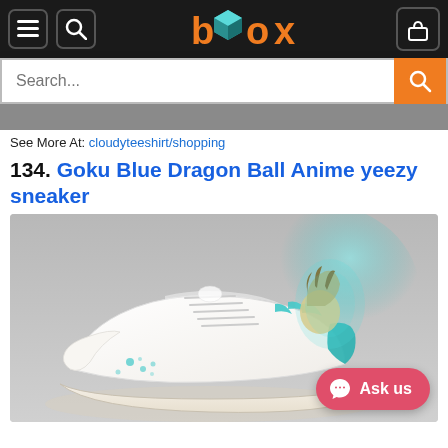Box shopping site navigation header with menu, search, and cart buttons, and box logo
See More At: cloudyteeshirt/shopping
134. Goku Blue Dragon Ball Anime yeezy sneaker
[Figure (photo): White Yeezy-style sneaker with teal/cyan Dragon Ball Goku anime artwork on the side and heel tab, displayed on a light gray background]